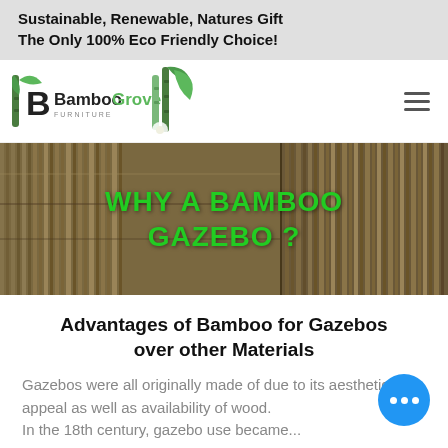Sustainable, Renewable, Natures Gift
The Only 100% Eco Friendly Choice!
[Figure (logo): BambooGrove Furniture logo with bamboo imagery and hamburger menu icon on right]
[Figure (photo): Close-up of bamboo material texture background with green text overlay reading 'WHY A BAMBOO GAZEBO?']
Advantages of Bamboo for Gazebos over other Materials
Gazebos were all originally made of due to its aesthetic appeal as well as availability of wood.
In the 18th century...